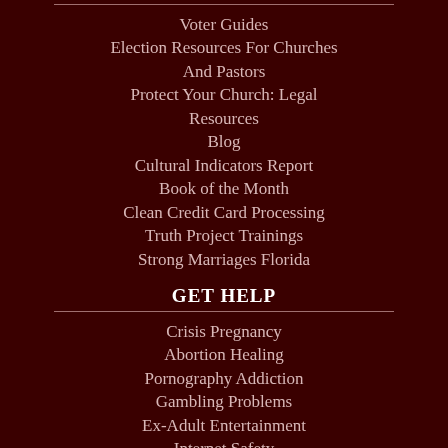Voter Guides
Election Resources For Churches And Pastors
Protect Your Church: Legal Resources
Blog
Cultural Indicators Report
Book of the Month
Clean Credit Card Processing
Truth Project Trainings
Strong Marriages Florida
GET HELP
Crisis Pregnancy
Abortion Healing
Pornography Addiction
Gambling Problems
Ex-Adult Entertainment
Internet Safety
Leaving Gay Lifestyle
Human Trafficking